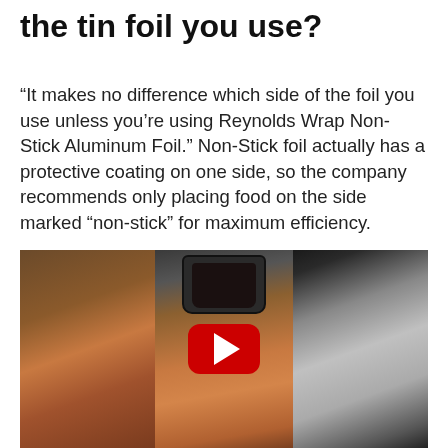the tin foil you use?
“It makes no difference which side of the foil you use unless you’re using Reynolds Wrap Non-Stick Aluminum Foil.” Non-Stick foil actually has a protective coating on one side, so the company recommends only placing food on the side marked “non-stick” for maximum efficiency.
[Figure (screenshot): Video thumbnail with YouTube play button showing a cooking scene with a roasted chicken/turkey in foil, a dark pan on a stovetop, and aluminum foil on the right side. Three-panel composite image.]